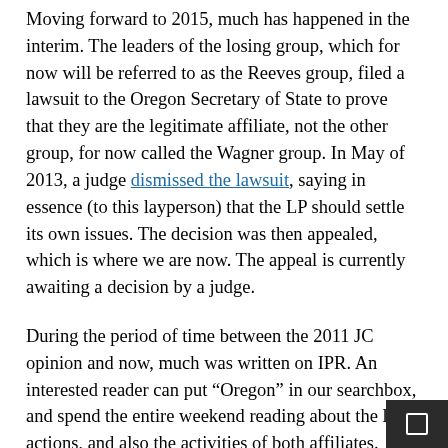Moving forward to 2015, much has happened in the interim. The leaders of the losing group, which for now will be referred to as the Reeves group, filed a lawsuit to the Oregon Secretary of State to prove that they are the legitimate affiliate, not the other group, for now called the Wagner group. In May of 2013, a judge dismissed the lawsuit, saying in essence (to this layperson) that the LP should settle its own issues. The decision was then appealed, which is where we are now. The appeal is currently awaiting a decision by a judge.
During the period of time between the 2011 JC opinion and now, much was written on IPR. An interested reader can put “Oregon” in our searchbox, and spend the entire weekend reading about the legal actions, and also the activities of both affiliates. Most of the articles have multiple links within them. Both groups held conventions and recruited candidates. The Wagner group, who had and still has ballot access, ran a rec